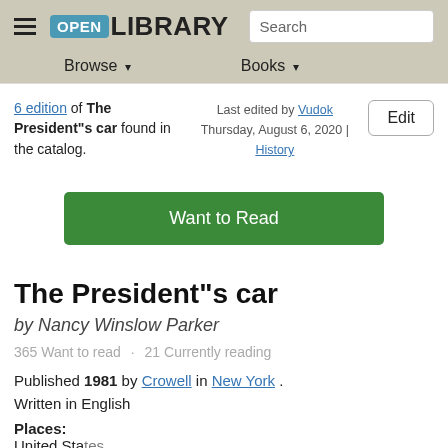Open Library — Browse | Books | Search
6 edition of The President"s car found in the catalog. Last edited by Vudok Thursday, August 6, 2020 | History
[Figure (other): Green Want to Read button]
The President"s car
by Nancy Winslow Parker
365 Want to read · 21 Currently reading
Published 1981 by Crowell in New York . Written in English
Places: United States